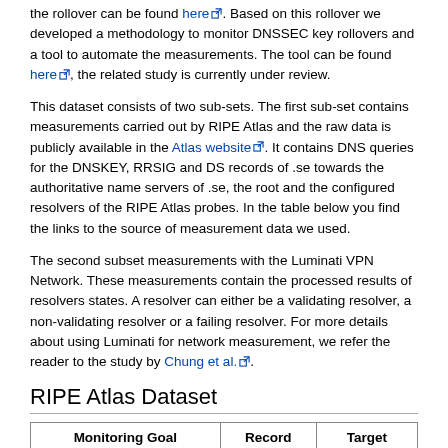the rollover can be found here. Based on this rollover we developed a methodology to monitor DNSSEC key rollovers and a tool to automate the measurements. The tool can be found here, the related study is currently under review.
This dataset consists of two sub-sets. The first sub-set contains measurements carried out by RIPE Atlas and the raw data is publicly available in the Atlas website. It contains DNS queries for the DNSKEY, RRSIG and DS records of .se towards the authoritative name servers of .se, the root and the configured resolvers of the RIPE Atlas probes. In the table below you find the links to the source of measurement data we used.
The second subset measurements with the Luminati VPN Network. These measurements contain the processed results of resolvers states. A resolver can either be a validating resolver, a non-validating resolver or a failing resolver. For more details about using Luminati for network measurement, we refer the reader to the study by Chung et al.
RIPE Atlas Dataset
| Monitoring Goal | Record | Target |
| --- | --- | --- |
| Publication Delay | RRSIG | a.ns.se. |
| Publication Delay | RRSIG | b.ns.se. |
| Publication Delay | RRSIG | c.ns.se. |